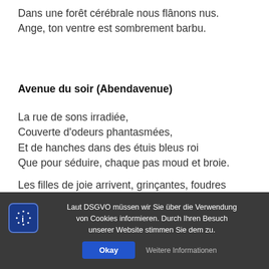Dans une forêt cérébrale nous flânons nus.
Ange, ton ventre est sombrement barbu.
Avenue du soir (Abendavenue)
La rue de sons irradiée,
Couverte d'odeurs phantasmées,
Et de hanches dans des étuis bleus roi
Que pour séduire, chaque pas moud et broie.
Les filles de joie arrivent, grinçantes, foudres
Laut DSGVO müssen wir Sie über die Verwendung von Cookies informieren. Durch Ihren Besuch unserer Website stimmen Sie dem zu.